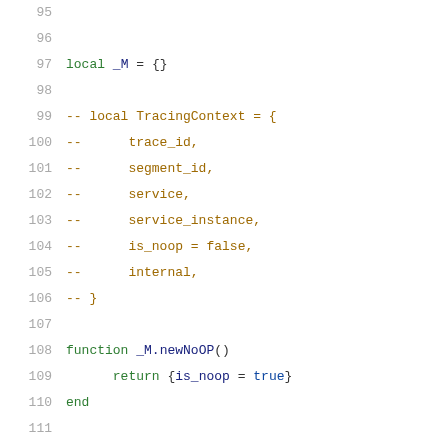Code listing lines 95-116, Lua source code
96: (blank)
97: local _M = {}
98: (blank)
99: -- local TracingContext = {
100: --      trace_id,
101: --      segment_id,
102: --      service,
103: --      service_instance,
104: --      is_noop = false,
105: --      internal,
106: -- }
107: (blank)
108: function _M.newNoOP()
109:     return {is_noop = true}
110: end
111: (blank)
112: function _M.new(serviceName, serviceInstanceName
113:     if serviceInstanceName == nil or serviceName
114:         return _M.newNoOP()
115:     end
116: (blank)